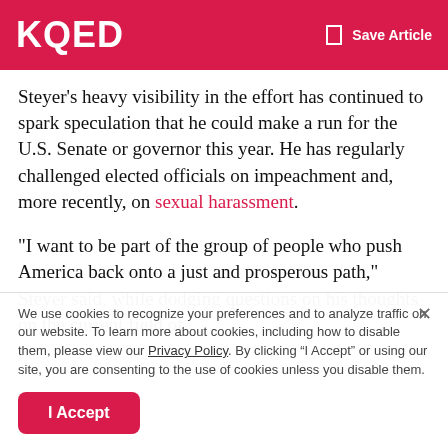KQED  Save Article
Steyer's heavy visibility in the effort has continued to spark speculation that he could make a run for the U.S. Senate or governor this year. He has regularly challenged elected officials on impeachment and, more recently, on sexual harassment.
"I want to be part of the group of people who push America back onto a just and prosperous path," Steyer said, while dodging questions on his thoughts on the current field of
We use cookies to recognize your preferences and to analyze traffic on our website. To learn more about cookies, including how to disable them, please view our Privacy Policy. By clicking “I Accept” or using our site, you are consenting to the use of cookies unless you disable them.
I Accept